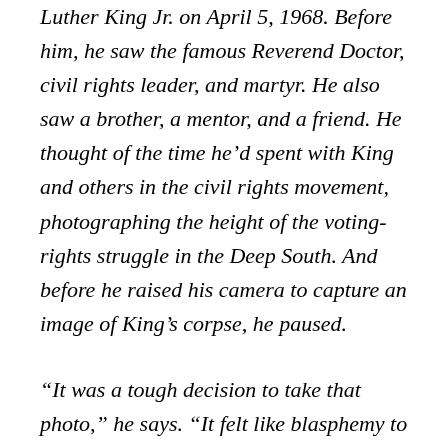Luther King Jr. on April 5, 1968. Before him, he saw the famous Reverend Doctor, civil rights leader, and martyr. He also saw a brother, a mentor, and a friend. He thought of the time he'd spent with King and others in the civil rights movement, photographing the height of the voting-rights struggle in the Deep South. And before he raised his camera to capture an image of King's corpse, he paused.
“It was a tough decision to take that photo,” he says. “It felt like blasphemy to put a camera in his face. But then I thought, ‘The world needs to see this horrible truth.’” Bringing the camera to his eye, Fitch made an indelible picture: King is at